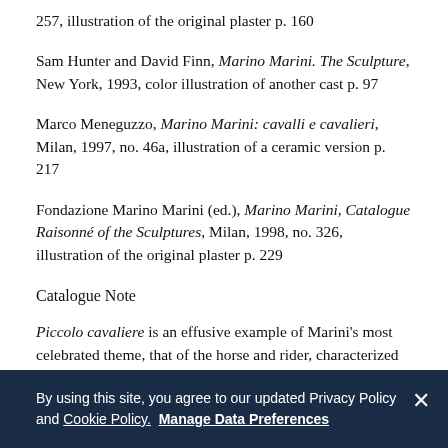257, illustration of the original plaster p. 160
Sam Hunter and David Finn, Marino Marini. The Sculpture, New York, 1993, color illustration of another cast p. 97
Marco Meneguzzo, Marino Marini: cavalli e cavalieri, Milan, 1997, no. 46a, illustration of a ceramic version p. 217
Fondazione Marino Marini (ed.), Marino Marini, Catalogue Raisonné of the Sculptures, Milan, 1998, no. 326, illustration of the original plaster p. 229
Catalogue Note
Piccolo cavaliere is an effusive example of Marini's most celebrated theme, that of the horse and rider, characterized by a uniquely finished surface, hand-painted by the artist in shades of
By using this site, you agree to our updated Privacy Policy and Cookie Policy. Manage Data Preferences